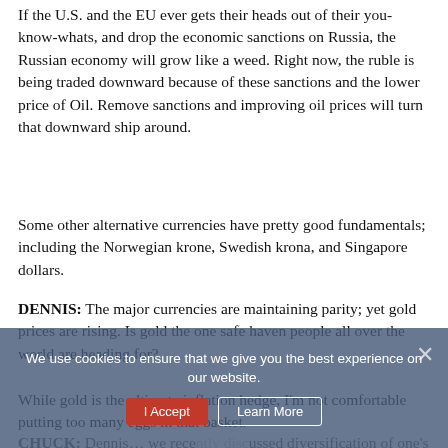If the U.S. and the EU ever gets their heads out of their you-know-whats, and drop the economic sanctions on Russia, the Russian economy will grow like a weed. Right now, the ruble is being traded downward because of these sanctions and the lower price of Oil. Remove sanctions and improving oil prices will turn that downward ship around.
Some other alternative currencies have pretty good fundamentals; including the Norwegian krone, Swedish krona, and Singapore dollars.
DENNIS: The major currencies are maintaining parity; yet gold prices are rising. Is gold the one safe haven people all over the world are heading for?
While gold is the ultimate inflation hedge, I'm not comfortable putting too many eggs in that basket.
CHUCK: Dennis… we recently discussed diversification of one's investment portfolio. What seems to be a good idea to load up on Gold & Silver right now, with all the currency
We use cookies to ensure that we give you the best experience on our website.